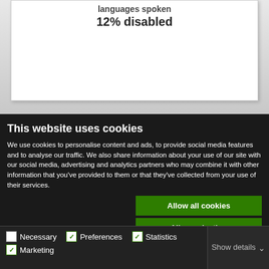12% disabled
This website uses cookies
We use cookies to personalise content and ads, to provide social media features and to analyse our traffic. We also share information about your use of our site with our social media, advertising and analytics partners who may combine it with other information that you've provided to them or that they've collected from your use of their services.
Allow all cookies
Allow selection
Use necessary cookies only
Necessary   Preferences   Statistics   Marketing   Show details